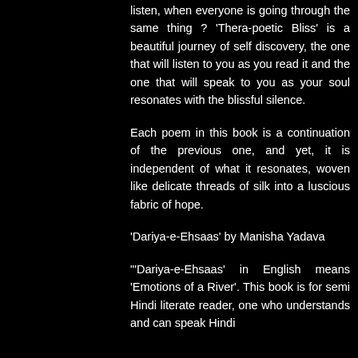listen, when everyone is going through the same thing ? 'Thera-poetic Bliss' is a beautiful journey of self discovery, the one that will listen to you as you read it and the one that will speak to you as your soul resonates with the blissful silence.
Each poem in this book is a continuation of the previous one, and yet, it is independent of what it resonates, woven like delicate threads of silk into a luscious fabric of hope.
'Dariya-e-Ehsaas' by Manisha Yadava
"'Dariya-e-Ehsaas' in English means 'Emotions of a River'. This book is for semi Hindi literate reader, one who understands and can speak Hindi